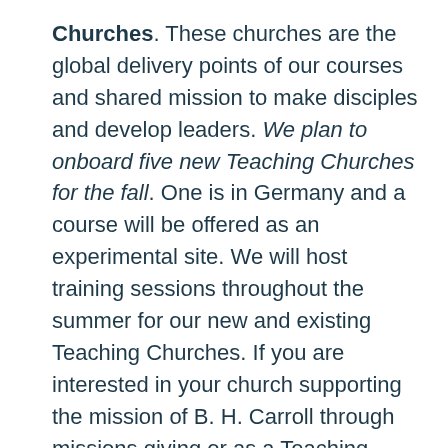Churches. These churches are the global delivery points of our courses and shared mission to make disciples and develop leaders. We plan to onboard five new Teaching Churches for the fall. One is in Germany and a course will be offered as an experimental site. We will host training sessions throughout the summer for our new and existing Teaching Churches. If you are interested in your church supporting the mission of B. H. Carroll through missions giving or as a Teaching Church, please let us know.
We continue to depend on the